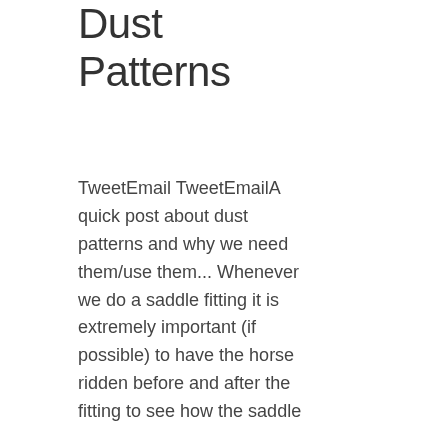Dust Patterns
TweetEmail TweetEmailA quick post about dust patterns and why we need them/use them... Whenever we do a saddle fitting it is extremely important (if possible) to have the horse ridden before and after the fitting to see how the saddle